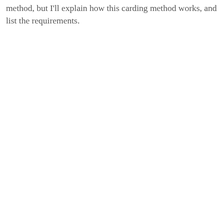method, but I'll explain how this carding method works, and list the requirements.